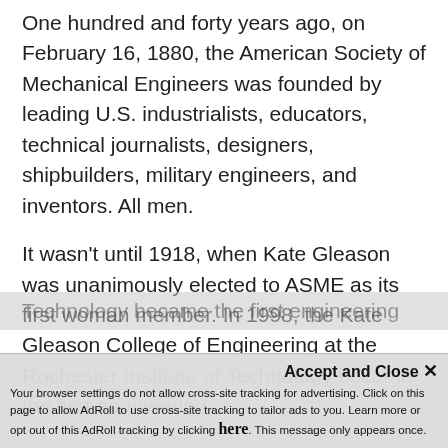One hundred and forty years ago, on February 16, 1880, the American Society of Mechanical Engineers was founded by leading U.S. industrialists, educators, technical journalists, designers, shipbuilders, military engineers, and inventors. All men.
It wasn't until 1918, when Kate Gleason was unanimously elected to ASME as its first woman member. In 1998, the Kate Gleason College of Engineering at the Rochester Institute of Technology became the first engineering...
Accept and Close ✕ Your browser settings do not allow cross-site tracking for advertising. Click on this page to allow AdRoll to use cross-site tracking to tailor ads to you. Learn more or opt out of this AdRoll tracking by clicking here. This message only appears once.